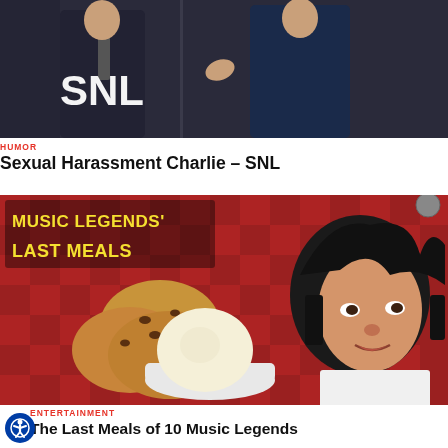[Figure (photo): Two men in suits with SNL logo overlay on dark background]
HUMOR
Sexual Harassment Charlie – SNL
[Figure (photo): Music Legends' Last Meals thumbnail featuring cookies, ice cream, and Elvis Presley cutout on red checkered tablecloth]
ENTERTAINMENT
The Last Meals of 10 Music Legends